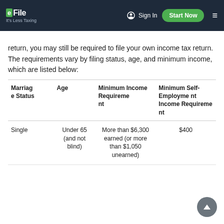eFile It's Less Taxing | Sign In | Start Now
return, you may still be required to file your own income tax return. The requirements vary by filing status, age, and minimum income, which are listed below:
| Marriage Status | Age | Minimum Income Requirement | Minimum Self-Employment Income Requirement |
| --- | --- | --- | --- |
| Single | Under 65 (and not blind) | More than $6,300 earned (or more than $1,050 unearned) | $400 |